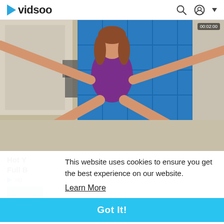vidsoo
[Figure (photo): A woman in a purple leotard doing a split stretch against a blue foam mat background in what appears to be a dance studio.]
Hot Y
Full B
vid
[Figure (photo): Thumbnail of another video showing a person in a dance or gymnastics pose outdoors.]
This website uses cookies to ensure you get the best experience on our website.
Learn More
Got It!